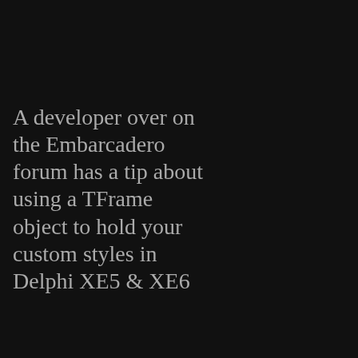A developer over on the Embarcadero forum has a tip about using a TFrame object to hold your custom styles in Delphi XE5 & XE6